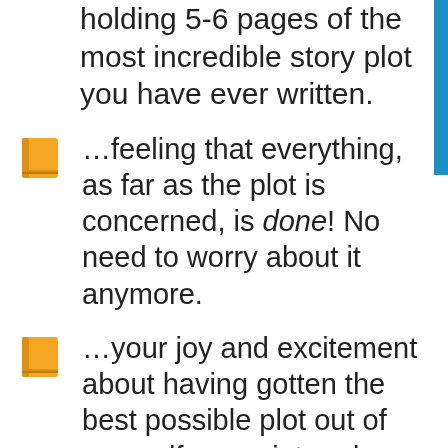holding 5-6 pages of the most incredible story plot you have ever written.
…feeling that everything, as far as the plot is concerned, is done! No need to worry about it anymore.
…your joy and excitement about having gotten the best possible plot out of yourself, on point and polished.
…how pumped and motivated